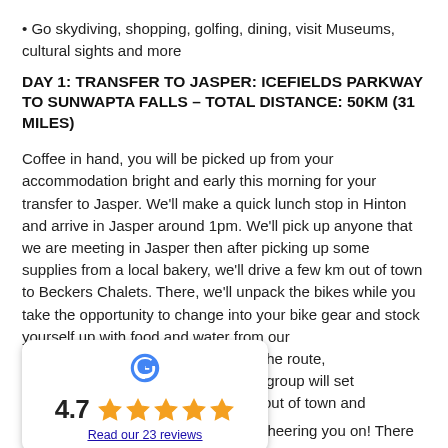Go skydiving, shopping, golfing, dining, visit Museums, cultural sights and more
DAY 1: TRANSFER TO JASPER: ICEFIELDS PARKWAY TO SUNWAPTA FALLS – TOTAL DISTANCE: 50KM (31 MILES)
Coffee in hand, you will be picked up from your accommodation bright and early this morning for your transfer to Jasper. We'll make a quick lunch stop in Hinton and arrive in Jasper around 1pm. We'll pick up anyone that we are meeting in Jasper then after picking up some supplies from a local bakery, we'll drive a few km out of town to Beckers Chalets. There, we'll unpack the bikes while you take the opportunity to change into your bike gear and stock yourself up with food and water from our v                                    quick review of the route, e                                   ps, you and the group will set o                                   you are guided out of town and o                                   Parkway.
[Figure (infographic): Google review badge showing 4.7 rating with 5 orange stars and a link 'Read our 23 reviews']
Watch out for wildlife and townsfolk cheering you on! There